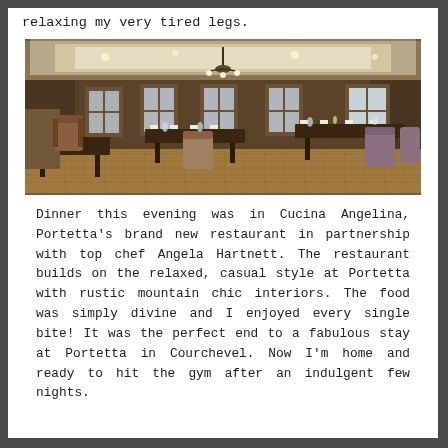relaxing my very tired legs.
[Figure (photo): Interior of Cucina Angelina restaurant at Portetta hotel, showing rustic mountain chic decor with dark wood paneling, multiple dining tables with chairs upholstered in brown and grey fabric, pendant chandelier, and parquet flooring.]
Dinner this evening was in Cucina Angelina, Portetta's brand new restaurant in partnership with top chef Angela Hartnett. The restaurant builds on the relaxed, casual style at Portetta with rustic mountain chic interiors. The food was simply divine and I enjoyed every single bite! It was the perfect end to a fabulous stay at Portetta in Courchevel. Now I'm home and ready to hit the gym after an indulgent few nights.